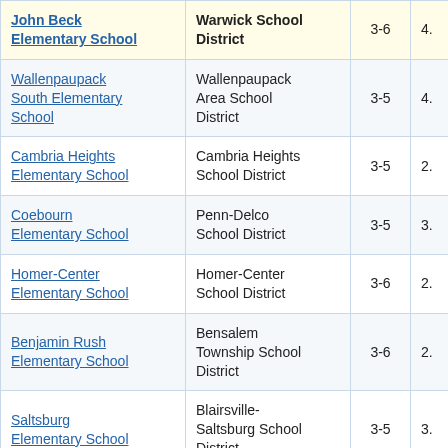| School | District | Grades | Score |
| --- | --- | --- | --- |
| John Beck Elementary School | Warwick School District | 3-6 | 4. |
| Wallenpaupack South Elementary School | Wallenpaupack Area School District | 3-5 | 4. |
| Cambria Heights Elementary School | Cambria Heights School District | 3-5 | 2. |
| Coebourn Elementary School | Penn-Delco School District | 3-5 | 3. |
| Homer-Center Elementary School | Homer-Center School District | 3-6 | 2. |
| Benjamin Rush Elementary School | Bensalem Township School District | 3-6 | 2. |
| Saltsburg Elementary School | Blairsville-Saltsburg School District | 3-5 | 3. |
|  | Southern York |  |  |